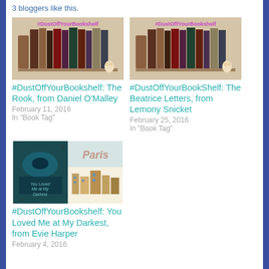3 bloggers like this.
[Figure (photo): Bookshelf with books, hashtag DustOffYourBookshelf text overlay]
#DustOffYourBookshelf: The Rook, from Daniel O'Malley
February 11, 2016
In "Book Tag"
[Figure (photo): Bookshelf with books, hashtag DustOffYourBookshelf text overlay]
#DustOffYourBookShelf: The Beatrice Letters, from Lemony Snicket
February 25, 2016
In "Book Tag"
[Figure (photo): Book covers - You Loved Me at My Darkest and Paris book]
#DustOffYourBookshelf: You Loved Me at My Darkest, from Evie Harper
February 4, 2016